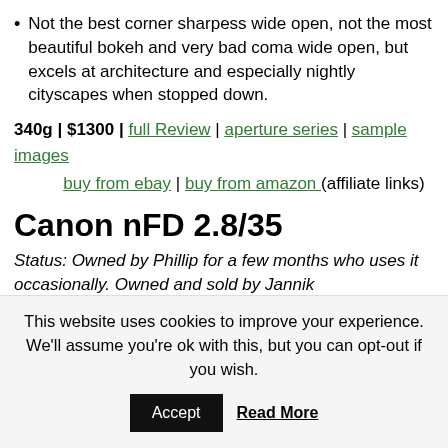Not the best corner sharpess wide open, not the most beautiful bokeh and very bad coma wide open, but excels at architecture and especially nightly cityscapes when stopped down.
340g | $1300 | full Review | aperture series | sample images
buy from ebay | buy from amazon (affiliate links)
Canon nFD 2.8/35
Status: Owned by Phillip for a few months who uses it occasionally. Owned and sold by Jannik
This website uses cookies to improve your experience. We'll assume you're ok with this, but you can opt-out if you wish.
Accept  Read More